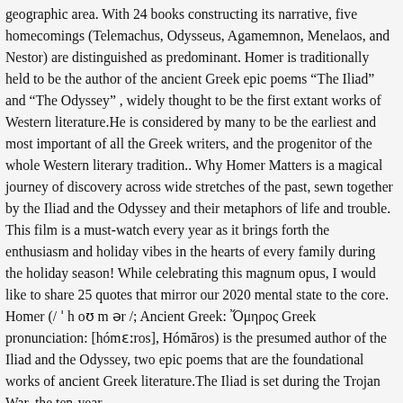geographic area. With 24 books constructing its narrative, five homecomings (Telemachus, Odysseus, Agamemnon, Menelaos, and Nestor) are distinguished as predominant. Homer is traditionally held to be the author of the ancient Greek epic poems "The Iliad" and "The Odyssey" , widely thought to be the first extant works of Western literature.He is considered by many to be the earliest and most important of all the Greek writers, and the progenitor of the whole Western literary tradition.. Why Homer Matters is a magical journey of discovery across wide stretches of the past, sewn together by the Iliad and the Odyssey and their metaphors of life and trouble. This film is a must-watch every year as it brings forth the enthusiasm and holiday vibes in the hearts of every family during the holiday season! While celebrating this magnum opus, I would like to share 25 quotes that mirror our 2020 mental state to the core. Homer (/ ˈ h oʊ m ər /; Ancient Greek: Ὅμηρος Greek pronunciation: [hómɛːros], Hómēros) is the presumed author of the Iliad and the Odyssey, two epic poems that are the foundational works of ancient Greek literature.The Iliad is set during the Trojan War, the ten-year